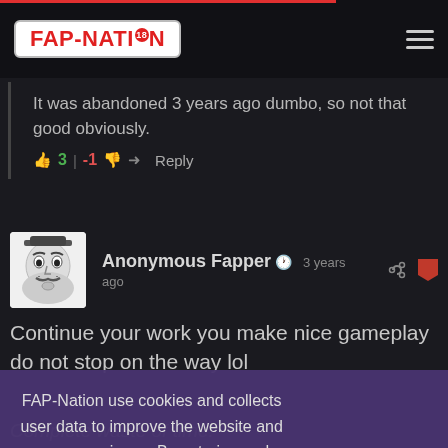FAP-NATION
It was abandoned 3 years ago dumbo, so not that good obviously.
3 | -1 Reply
Anonymous Fapper 3 years ago
Continue your work you make nice gameplay do not stop on the way lol
FAP-Nation use cookies and collects user data to improve the website and your experience. By entering and using the website you agree with these terms. Learn More
Complete waste of time.